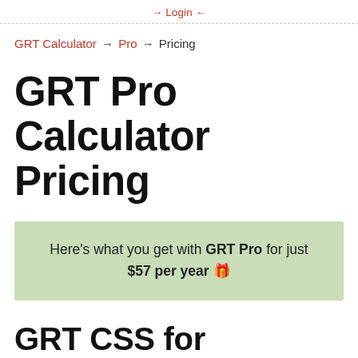→ Login ←
GRT Calculator → Pro → Pricing
GRT Pro Calculator Pricing
Here's what you get with GRT Pro for just $57 per year 🎁
GRT CSS for Unlimited